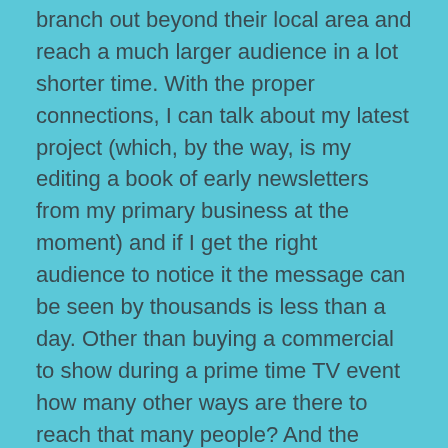branch out beyond their local area and reach a much larger audience in a lot shorter time. With the proper connections, I can talk about my latest project (which, by the way, is my editing a book of early newsletters from my primary business at the moment) and if I get the right audience to notice it the message can be seen by thousands is less than a day. Other than buying a commercial to show during a prime time TV event how many other ways are there to reach that many people? And the costs… forget about it!
Social media marketing also doesn't have to be that direct to work. In the past I've mentioned that any major business not following their name or industry on Twitter is doing themselves a disservice because it's not giving them the opportunity to either thank people that say nice things about them or correct something that a customer has complained about. These days it's incumbent to